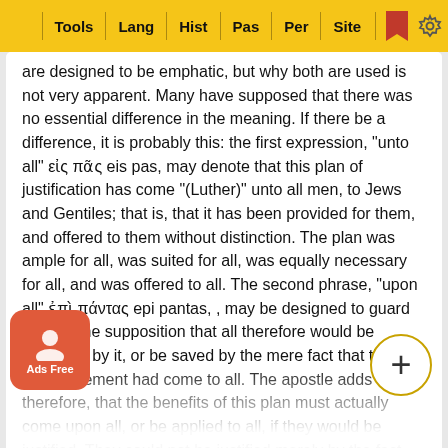Tools | Lang | Hist | Pas | Per | Site
are designed to be emphatic, but why both are used is not very apparent. Many have supposed that there was no essential difference in the meaning. If there be a difference, it is probably this: the first expression, "unto all" εἰς πᾶς eis pas, may denote that this plan of justification has come "(Luther)" unto all men, to Jews and Gentiles; that is, that it has been provided for them, and offered to them without distinction. The plan was ample for all, was suited for all, was equally necessary for all, and was offered to all. The second phrase, "upon all" ἐπὶ πάντας epi pantas, , may be designed to guard against the supposition that all therefore would be benefited by it, or be saved by the mere fact that the announcement had come to all. The apostle adds therefore, that the benefits of this plan must actually come upon all, or be applied to all, if they would be justified. They could not be justified merely by the fact that the plan was provided, and that the knowledge of it had come to all, but by their a… thems…